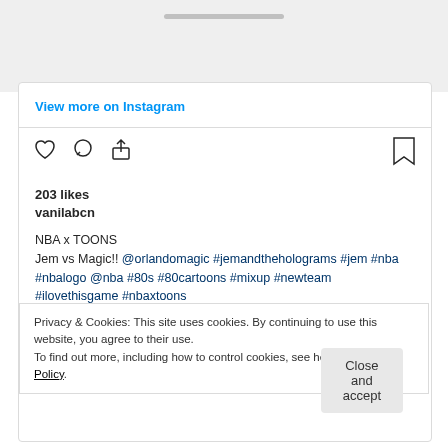[Figure (screenshot): Top gray area of a mobile bottom sheet with a drag handle indicator]
View more on Instagram
203 likes
vanilabcn
NBA x TOONS
Jem vs Magic!! @orlandomagic #jemandtheholograms #jem #nba #nbalogo @nba #80s #80cartoons #mixup #newteam #ilovethisgame #nbaxtoons
Privacy & Cookies: This site uses cookies. By continuing to use this website, you agree to their use.
To find out more, including how to control cookies, see here: Cookie Policy
Close and accept